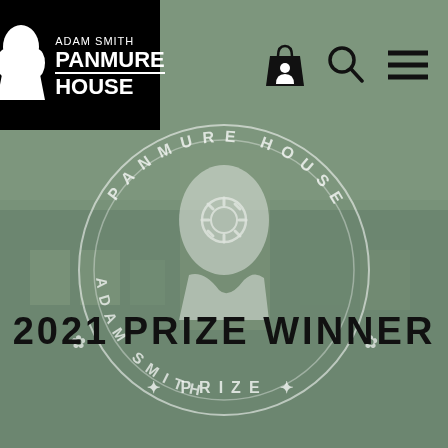[Figure (logo): Adam Smith Panmure House logo — white silhouette of Adam Smith on black background with text ADAM SMITH / PANMURE / HOUSE]
[Figure (illustration): Adam Smith Panmure House Prize seal/medallion — circular emblem with text ADAM SMITH * PANMURE HOUSE * PRIZE around the border, with profile silhouette of Adam Smith with sunburst design in center, overlaid on a muted green-tinted background photo of Panmure House building]
2021 PRIZE WINNER